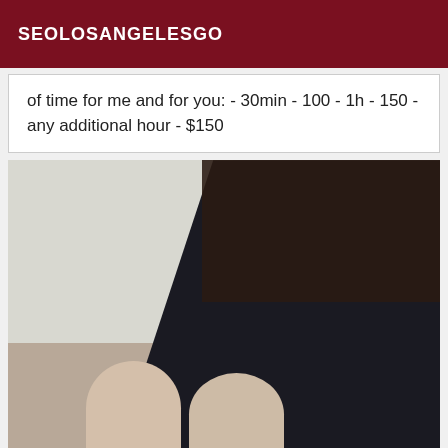SEOLOSANGELESGO
of time for me and for you: - 30min - 100 - 1h - 150 - any additional hour - $150
[Figure (photo): Photo of a person wearing black lingerie/bodysuit with fishnet stockings, taken from above at close range. Background shows a light-colored wall and floor.]